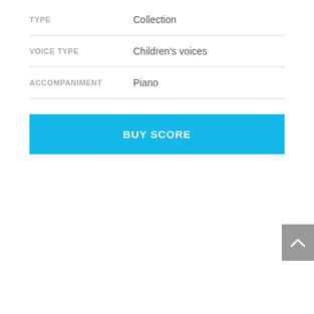| Field | Value |
| --- | --- |
| TYPE | Collection |
| VOICE TYPE | Children's voices |
| ACCOMPANIMENT | Piano |
BUY SCORE